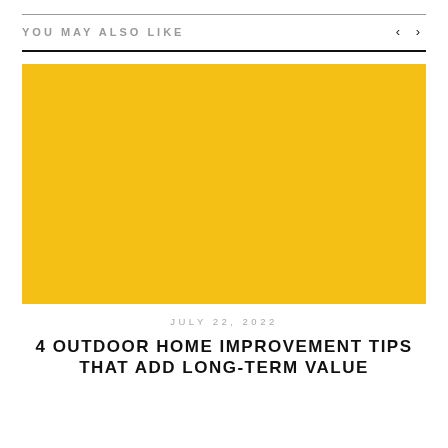YOU MAY ALSO LIKE
[Figure (illustration): Solid yellow/golden rectangle placeholder image for article thumbnail]
JULY 22, 2022
4 OUTDOOR HOME IMPROVEMENT TIPS THAT ADD LONG-TERM VALUE